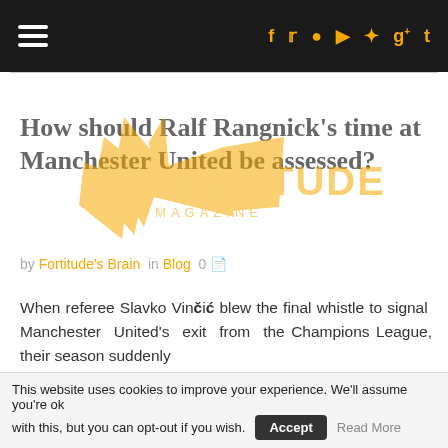Fortitude Magazine - navigation header with social icons
[Figure (logo): Fortitude Magazine logo - golden bird/wing shape with FORTITUDE text and MAGAZINE below]
How should Ralf Rangnick's time at Manchester United be assessed?
by Fortitude's Brain in Blog 0
When referee Slavko Vinčić blew the final whistle to signal Manchester United's exit from the Champions League, their season suddenly
Continue reading...
This website uses cookies to improve your experience. We'll assume you're ok with this, but you can opt-out if you wish. Accept Read More